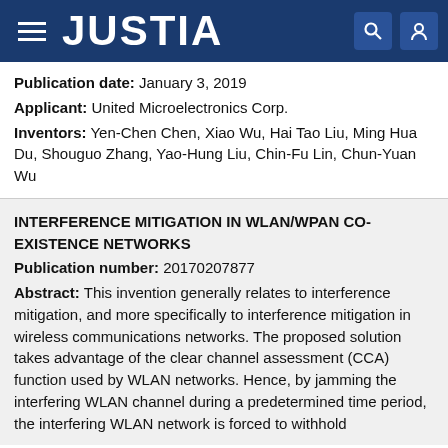JUSTIA
Publication date: January 3, 2019
Applicant: United Microelectronics Corp.
Inventors: Yen-Chen Chen, Xiao Wu, Hai Tao Liu, Ming Hua Du, Shouguo Zhang, Yao-Hung Liu, Chin-Fu Lin, Chun-Yuan Wu
INTERFERENCE MITIGATION IN WLAN/WPAN CO-EXISTENCE NETWORKS
Publication number: 20170207877
Abstract: This invention generally relates to interference mitigation, and more specifically to interference mitigation in wireless communications networks. The proposed solution takes advantage of the clear channel assessment (CCA) function used by WLAN networks. Hence, by jamming the interfering WLAN channel during a predetermined time period, the interfering WLAN network is forced to withhold